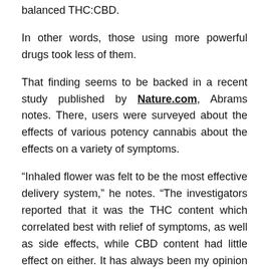balanced THC:CBD.
In other words, those using more powerful drugs took less of them.
That finding seems to be backed in a recent study published by Nature.com, Abrams notes. There, users were surveyed about the effects of various potency cannabis about the effects on a variety of symptoms.
“Inhaled flower was felt to be the most effective delivery system,” he notes. “The investigators reported that it was the THC content which correlated best with relief of symptoms, as well as side effects, while CBD content had little effect on either. It has always been my opinion that the plant is the best medicine, but if one is seeking the most